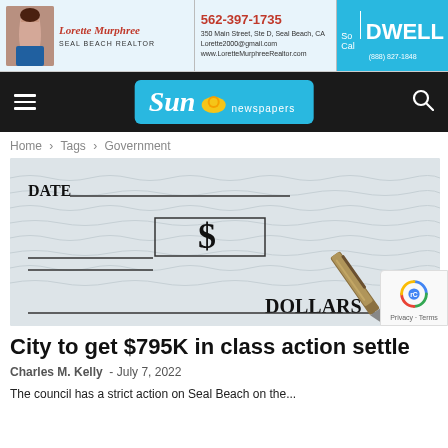[Figure (other): Advertisement banner for Lorette Murphree Seal Beach Realtor with phone 562-397-1735 and SoCal DWELL branding]
Sun newspapers navigation bar with hamburger menu and search icon
Home › Tags › Government
[Figure (photo): Close-up photo of a blank check showing DATE line, dollar sign box, DOLLARS line, and a pen/pencil in the lower right corner]
City to get $795K in class action settle
Charles M. Kelly  -  July 7, 2022
The council has a strict action on Seal Beach on the...